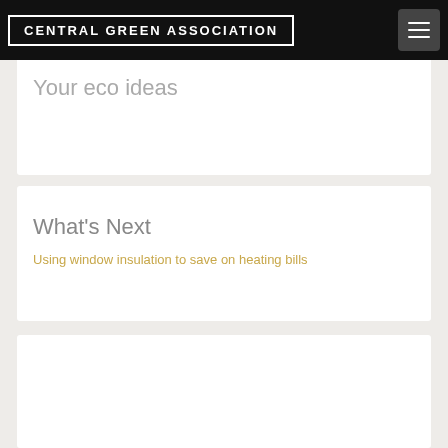CENTRAL GREEN ASSOCIATION
Your eco ideas
What's Next
Using window insulation to save on heating bills